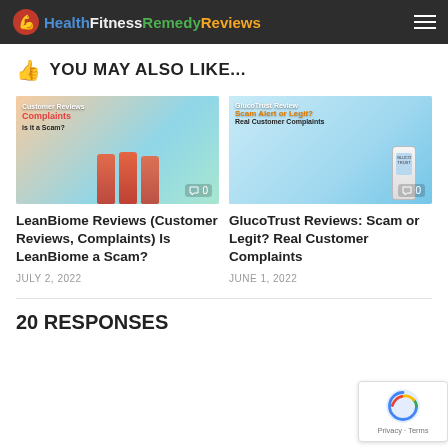HealthFitnessRemedyReviews
YOU MAY ALSO LIKE...
[Figure (photo): LeanBiome product review banner with customer and supplement bottles]
LeanBiome Reviews (Customer Reviews, Complaints) Is LeanBiome a Scam?
JULY 2, 2022
[Figure (photo): GlucoTrust review banner with doctor and supplement bottle]
GlucoTrust Reviews: Scam or Legit? Real Customer Complaints
JUNE 1, 2022
20 RESPONSES